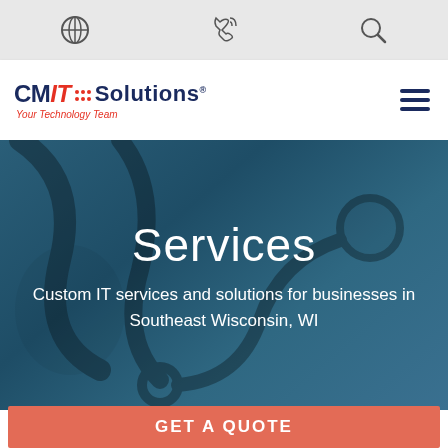[Figure (screenshot): Website screenshot of CMIT Solutions services page showing top utility bar with globe, phone, and search icons]
[Figure (logo): CMIT Solutions logo with tagline 'Your Technology Team' in navy and red]
Services
Custom IT services and solutions for businesses in Southeast Wisconsin, WI
GET A QUOTE
CMIT Solutions of SE Wisconsin provides managed